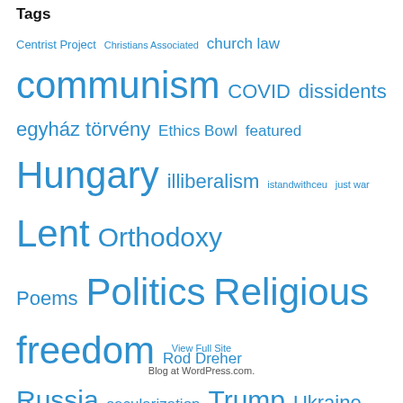Tags
Centrist Project  Christians Associated  church law  communism  COVID  dissidents  egyház törvény  Ethics Bowl  featured  Hungary  illiberalism  istandwithceu  just war  Lent  Orthodoxy  Poems  Politics  Religious freedom  Rod Dreher  Russia  secularization  Trump  Ukraine  vallásszabadság  Viktor Orbán
View Full Site
Blog at WordPress.com.